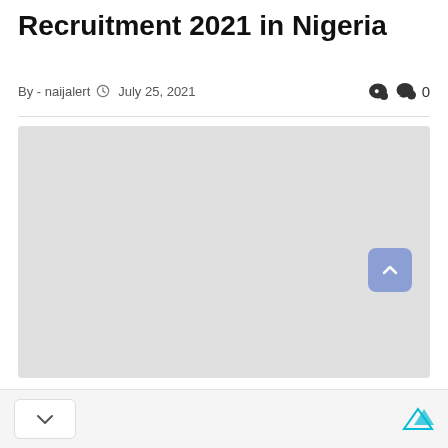Recruitment 2021 in Nigeria
By - naijalert   July 25, 2021   0
[Figure (photo): Large light gray image placeholder rectangle]
Back to top button and navigation chevron and ad icon